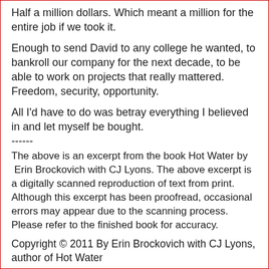Half a million dollars. Which meant a million for the entire job if we took it.
Enough to send David to any college he wanted, to bankroll our company for the next decade, to be able to work on projects that really mattered. Freedom, security, opportunity.
All I'd have to do was betray everything I believed in and let myself be bought.
------
The above is an excerpt from the book Hot Water by Erin Brockovich with CJ Lyons. The above excerpt is a digitally scanned reproduction of text from print. Although this excerpt has been proofread, occasional errors may appear due to the scanning process. Please refer to the finished book for accuracy.
Copyright © 2011 By Erin Brockovich with CJ Lyons, author of Hot Water
------
Author Bio: Erin Brockovich, author of Hot Water, is the real life inspiration behind the Oscar-winning movie that